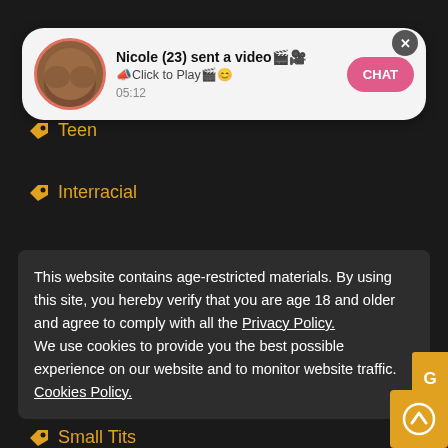[Figure (screenshot): Notification popup with avatar, text 'Nicole (23) sent a video' and CHAT button]
Nicole (23) sent a video🎬🎥
🔔Click to Play🎬😊
05:12
🏷 Teen
🏷 Interracial
This website contains age-restricted materials. By using this site, you hereby verify that you are age 18 and older and agree to comply with all the Privacy Policy.
We use cookies to provide you the best possible experience on our website and to monitor website traffic. Cookies Policy.
🏷 Small Tits